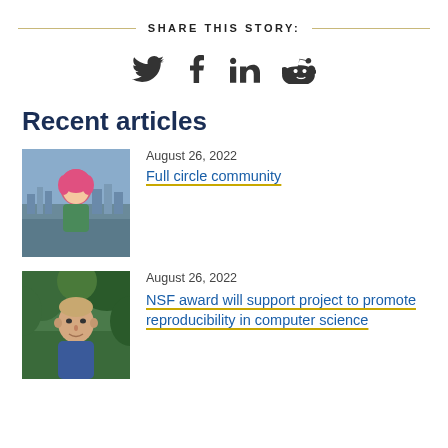SHARE THIS STORY:
[Figure (infographic): Social media share icons: Twitter bird, Facebook f, LinkedIn in, Reddit alien]
Recent articles
[Figure (photo): Woman with pink hair standing outdoors with cityscape in background]
August 26, 2022
Full circle community
[Figure (photo): Man in blue shirt outdoors with green foliage background]
August 26, 2022
NSF award will support project to promote reproducibility in computer science